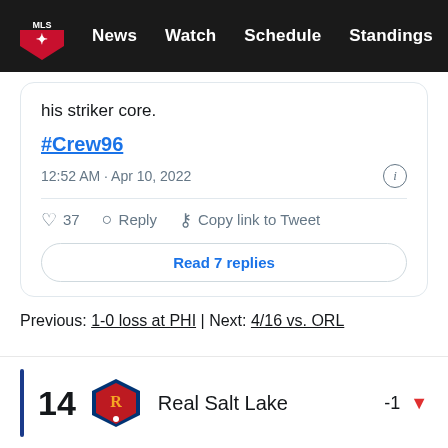MLS | News  Watch  Schedule  Standings  ...
his striker core.
#Crew96
12:52 AM · Apr 10, 2022
37   Reply   Copy link to Tweet
Read 7 replies
Previous: 1-0 loss at PHI | Next: 4/16 vs. ORL
14   Real Salt Lake   -1